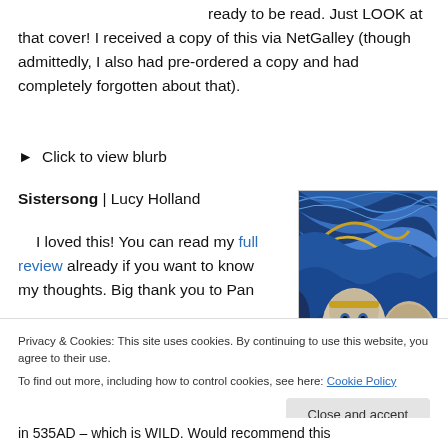ready to be read. Just LOOK at that cover! I received a copy of this via NetGalley (though admittedly, I also had pre-ordered a copy and had completely forgotten about that).
▶ Click to view blurb
Sistersong | Lucy Holland
[Figure (illustration): Book cover for Sistersong by Lucy Holland, showing three stylized female faces with flowing blue and gold hair in an Art Nouveau style]
I loved this! You can read my full review already if you want to know my thoughts. Big thank you to Pan
Privacy & Cookies: This site uses cookies. By continuing to use this website, you agree to their use.
To find out more, including how to control cookies, see here: Cookie Policy
in 535AD – which is WILD. Would recommend this